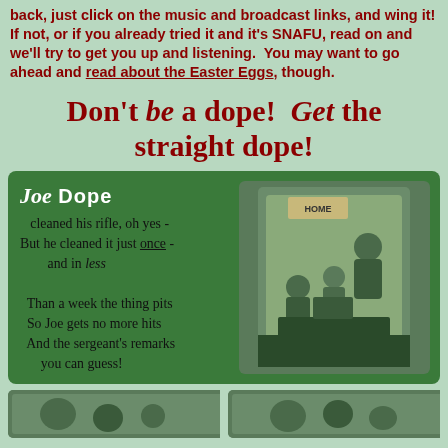back, just click on the music and broadcast links, and wing it! If not, or if you already tried it and it's SNAFU, read on and we'll try to get you up and listening. You may want to go ahead and read about the Easter Eggs, though.
Don't be a dope!  Get the straight dope!
[Figure (illustration): Green card with Joe Dope poem on the left and a vintage WWII-era military cartoon illustration on the right showing soldiers around equipment with a sign reading 'HOME']
[Figure (illustration): Two partially visible vintage illustrations at the bottom of the page]